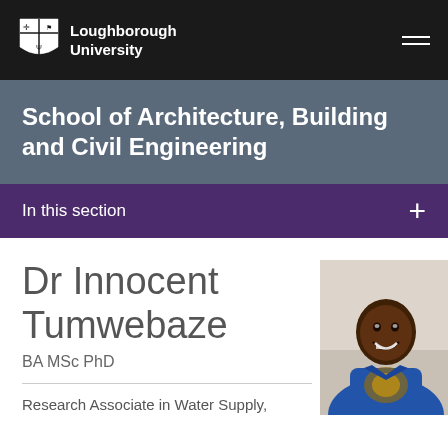Loughborough University
School of Architecture, Building and Civil Engineering
In this section
Dr Innocent Tumwebaze
BA MSc PhD
[Figure (photo): Headshot photo of Dr Innocent Tumwebaze, a smiling man wearing a blue patterned African print shirt, photographed against a light background]
Research Associate in Water Supply,